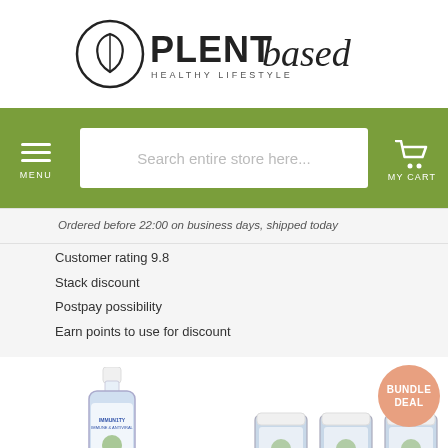[Figure (logo): Plent Based Healthy Lifestyle logo with circular leaf icon]
MENU | Search entire store here... | MY CART
Ordered before 22:00 on business days, shipped today
Customer rating 9.8
Stack discount
Postpay possibility
Earn points to use for discount
[Figure (photo): Product bottle - Immunity supplement liquid dropper bottle]
[Figure (photo): Bundle Deal - three supplement jars with BUNDLE DEAL badge]